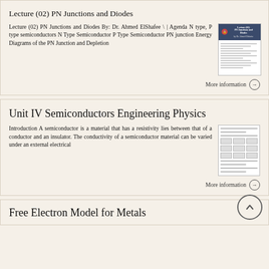Lecture (02) PN Junctions and Diodes
Lecture (02) PN Junctions and Diodes By: Dr. Ahmed ElShafee \ | Agenda N type, P type semiconductors N Type Semiconductor P Type Semiconductor PN junction Energy Diagrams of the PN Junction and Depletion
[Figure (screenshot): Thumbnail of lecture slide for PN Junctions and Diodes by Dr. Ahmed ElShafee]
More information →
Unit IV Semiconductors Engineering Physics
Introduction A semiconductor is a material that has a resistivity lies between that of a conductor and an insulator. The conductivity of a semiconductor material can be varied under an external electrical
[Figure (screenshot): Thumbnail of Unit IV Semiconductors Engineering Physics document with tables]
More information →
Free Electron Model for Metals